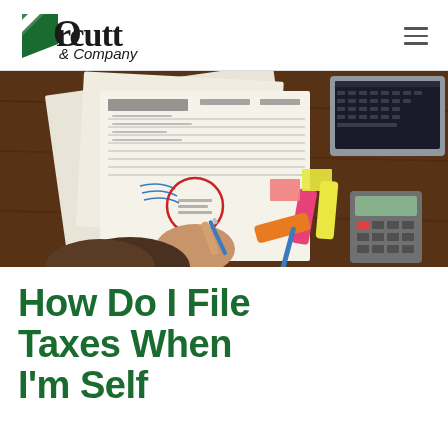Orcutt & Company
[Figure (photo): Overhead view of a person's hand writing on tax forms with a pen, surrounded by multiple tax documents, colorful highlighters (pink, yellow, orange), a blue pen, sticky notes, and a calculator on a dark wood desk, with a laptop in the upper right corner.]
How Do I File Taxes When I'm Self